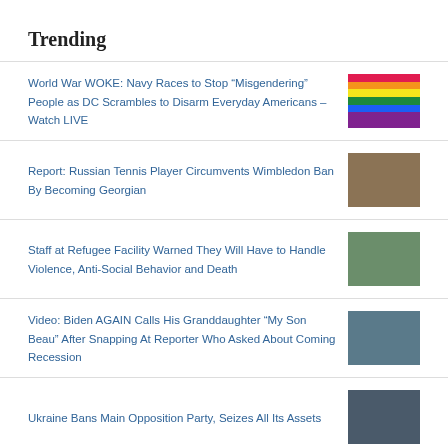Trending
World War WOKE: Navy Races to Stop “Misgendering” People as DC Scrambles to Disarm Everyday Americans – Watch LIVE
Report: Russian Tennis Player Circumvents Wimbledon Ban By Becoming Georgian
Staff at Refugee Facility Warned They Will Have to Handle Violence, Anti-Social Behavior and Death
Video: Biden AGAIN Calls His Granddaughter “My Son Beau” After Snapping At Reporter Who Asked About Coming Recession
Ukraine Bans Main Opposition Party, Seizes All Its Assets
Video: Trump Pledges To “Never Ever Ride A Bicycle”